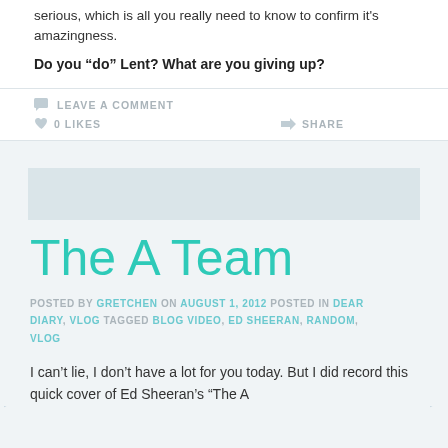serious, which is all you really need to know to confirm it's amazingness.
Do you “do” Lent? What are you giving up?
LEAVE A COMMENT
0 LIKES
SHARE
The A Team
POSTED BY GRETCHEN ON AUGUST 1, 2012 POSTED IN DEAR DIARY, VLOG TAGGED BLOG VIDEO, ED SHEERAN, RANDOM, VLOG
I can’t lie, I don’t have a lot for you today. But I did record this quick cover of Ed Sheeran’s “The A